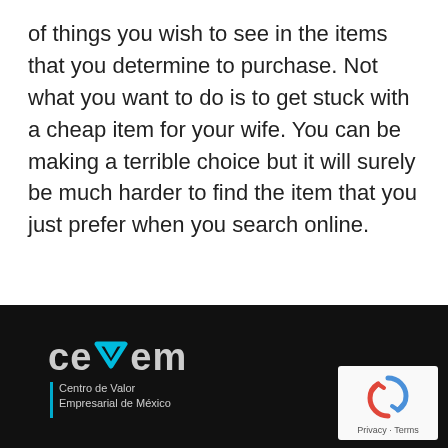of things you wish to see in the items that you determine to purchase. Not what you want to do is to get stuck with a cheap item for your wife. You can be making a terrible choice but it will surely be much harder to find the item that you just prefer when you search online.
[Figure (logo): CEVEM logo — Centro de Valor Empresarial de México — white text with teal chevron/arrow icon on black background, with a reCAPTCHA widget in the bottom right corner]